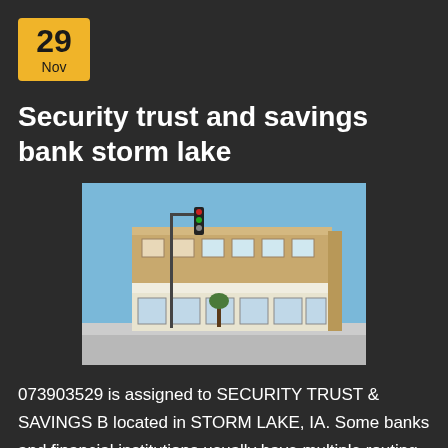29 Nov
Security trust and savings bank storm lake
[Figure (photo): Exterior photo of Security Trust and Savings Bank building in Storm Lake, IA — a two-story tan brick corner building with a traffic light in front, under a clear blue sky.]
073903529 is assigned to SECURITY TRUST & SAVINGS B located in STORM LAKE, IA. Some banks and financial institutions usually have multiple routing. Storm Lake, IA — State Member Bank · Total Assets. 198.3M 1.1 % · Total